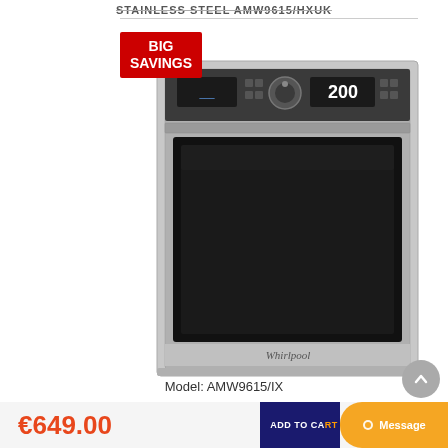STAINLESS STEEL AMW9615/HXUK
[Figure (photo): Whirlpool AMW9615/IX stainless steel built-in microwave oven with digital display showing '200', rotary dial, and dark glass door. BIG SAVINGS badge in top-left corner.]
Model: AMW9615/IX
€649.00
ADD TO CART
Search
Message